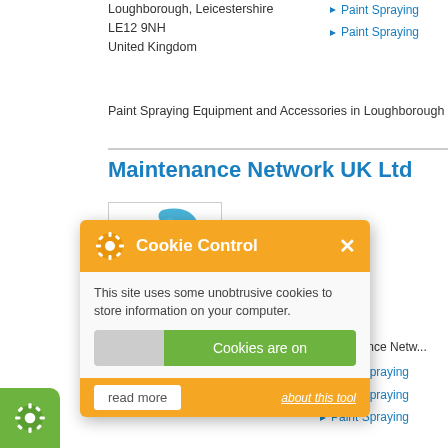Loughborough, Leicestershire
LE12 9NH
United Kingdom
Paint Spraying
Paint Spraying
Paint Spraying Equipment and Accessories in Loughborough
Maintenance Network UK Ltd
[Figure (logo): Maintenance Network UK Ltd logo - abstract ribbon/globe shape in blue and green]
Maintenance Netw...
Paint Spraying
Paint Spraying
Paint Spraying
This site uses some unobtrusive cookies to store information on your computer.
Cookies are on
about this tool
read more
Paint Spraying Equipment and Accessories in Norwich